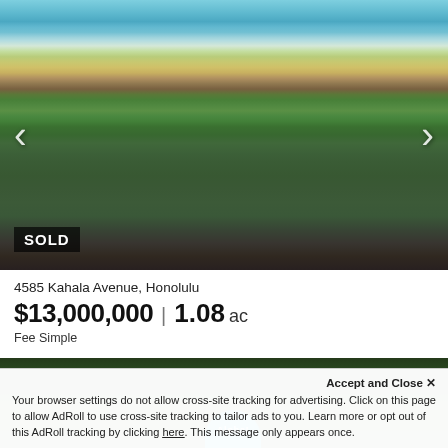[Figure (photo): Aerial view of 4585 Kahala Avenue property in Honolulu, Hawaii, showing beachfront area with palm trees, ocean in background, residential homes with green landscaping. Navigation arrows on left and right. SOLD badge in lower left.]
4585 Kahala Avenue, Honolulu
$13,000,000 | 1.08 ac
Fee Simple
[Figure (photo): Aerial view of lush green tropical forest/landscaping with an Aloha-labeled circular button partially visible.]
Accept and Close ✕
Your browser settings do not allow cross-site tracking for advertising. Click on this page to allow AdRoll to use cross-site tracking to tailor ads to you. Learn more or opt out of this AdRoll tracking by clicking here. This message only appears once.